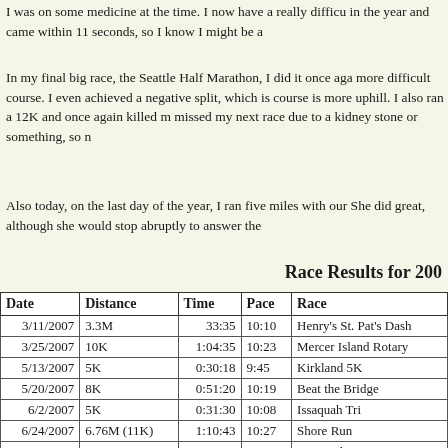I was on some medicine at the time. I now have a really difficult in the year and came within 11 seconds, so I know I might be a
In my final big race, the Seattle Half Marathon, I did it once again more difficult course. I even achieved a negative split, which is course is more uphill. I also ran a 12K and once again killed m missed my next race due to a kidney stone or something, so n
Also today, on the last day of the year, I ran five miles with our She did great, although she would stop abruptly to answer the
Race Results for 200
| Date | Distance | Time | Pace | Race |
| --- | --- | --- | --- | --- |
| 3/11/2007 | 3.3M | 33:35 | 10:10 | Henry's St. Pat's Dash |
| 3/25/2007 | 10K | 1:04:35 | 10:23 | Mercer Island Rotary |
| 5/13/2007 | 5K | 0:30:18 | 9:45 | Kirkland 5K |
| 5/20/2007 | 8K | 0:51:20 | 10:19 | Beat the Bridge |
| 6/2/2007 | 5K | 0:31:30 | 10:08 | Issaquah Tri |
| 6/24/2007 | 6.76M (11K) | 1:10:43 | 10:27 | Shore Run |
| 7/3/2007 | 5K | 0:30:03 | 9:40 | Firecracker 5000 |
| 7/8/2007 | HM (13.1M) | 2:26:15 | 11:09 | Seafair HM |
| 8/5/2007 | 5K | 0:29:32 | 9:30 | Footzone 5K |